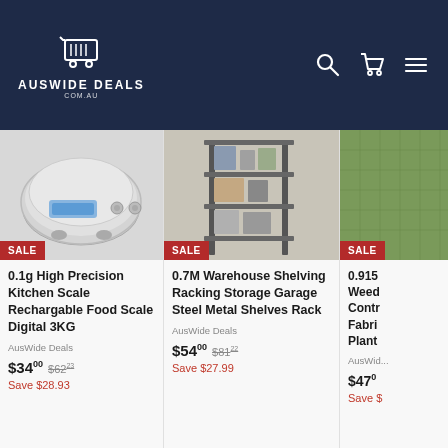[Figure (logo): AusWide Deals e-commerce website header with shopping cart logo, search icon, cart icon, and hamburger menu on dark navy background]
[Figure (photo): Digital kitchen scale product image with SALE badge]
0.1g High Precision Kitchen Scale Rechargable Food Scale Digital 3KG
AusWide Deals
$3400  $6223  Save $28.93
[Figure (photo): Warehouse shelving racking storage product image with SALE badge]
0.7M Warehouse Shelving Racking Storage Garage Steel Metal Shelves Rack
AusWide Deals
$5400  $8122  Save $27.99
[Figure (photo): Weed control fabric/plant product image with SALE badge (partially cropped)]
0.915... Weed Contr... Fabric... Plant...
AusWid...
$4700  Save $...